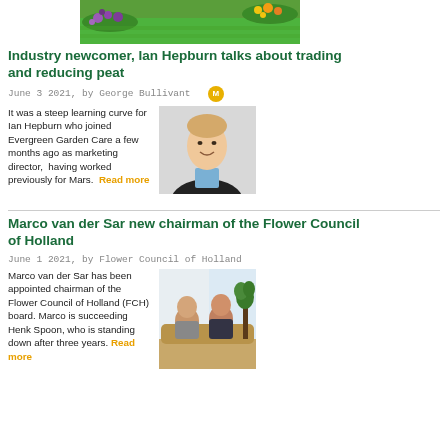[Figure (photo): Garden with colorful flowers and green lawn]
Industry newcomer, Ian Hepburn talks about trading and reducing peat
June 3 2021, by George Bullivant
It was a steep learning curve for Ian Hepburn who joined Evergreen Garden Care a few months ago as marketing director, having worked previously for Mars. Read more
[Figure (photo): Portrait photo of Ian Hepburn, a young man smiling in a dark jacket]
Marco van der Sar new chairman of the Flower Council of Holland
June 1 2021, by Flower Council of Holland
Marco van der Sar has been appointed chairman of the Flower Council of Holland (FCH) board. Marco is succeeding Henk Spoon, who is standing down after three years. Read more
[Figure (photo): Two men sitting casually in a bright room with plants]